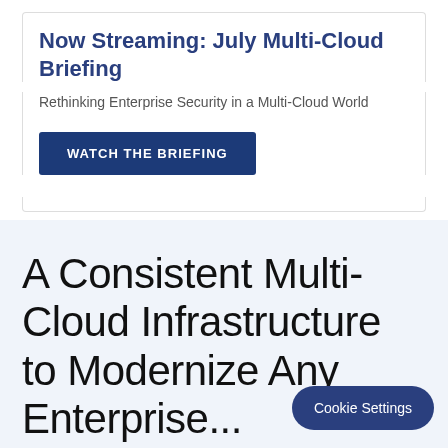Now Streaming: July Multi-Cloud Briefing
Rethinking Enterprise Security in a Multi-Cloud World
WATCH THE BRIEFING
A Consistent Multi-Cloud Infrastructure to Modernize Any Enterprise
Cookie Settings